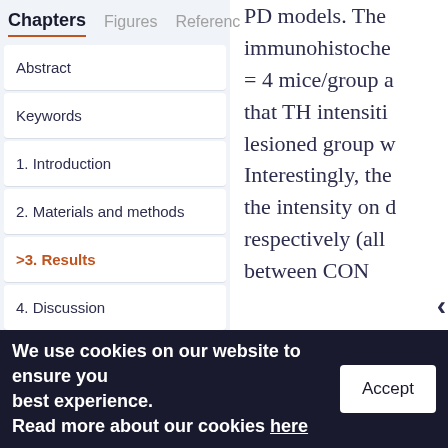Chapters | Figures | References
Abstract
Keywords
1. Introduction
2. Materials and methods
>3. Results
4. Discussion
5. Conclusions
PD models. The immunohistoche = 4 mice/group a that TH intensiti lesioned group w Interestingly, the the intensity on d respectively (all between CON
We use cookies on our website to ensure you best experience. Read more about our cookies here